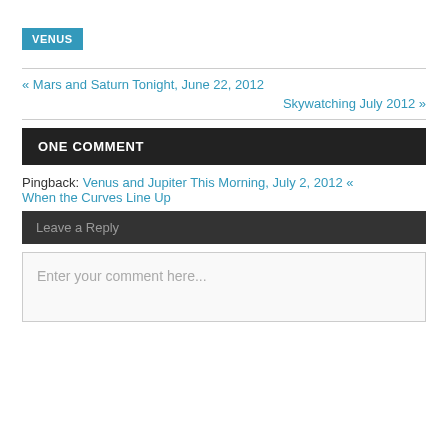VENUS
« Mars and Saturn Tonight, June 22, 2012
Skywatching July 2012 »
ONE COMMENT
Pingback: Venus and Jupiter This Morning, July 2, 2012 « When the Curves Line Up
Leave a Reply
Enter your comment here...